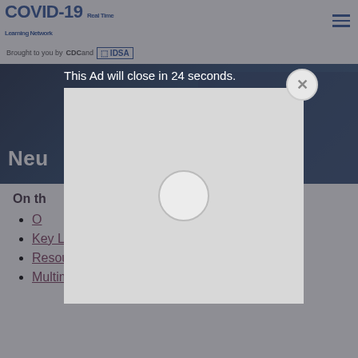COVID-19 Real Time Learning Network — Brought to you by CDC and IDSA
[Figure (screenshot): Hero banner image with dark blue background showing partial text 'Neu...' in white bold font — neurology topic page header]
This Ad will close in 24 seconds.
[Figure (screenshot): Gray advertisement popup modal with a circle loading indicator in the center, overlaid with a semi-transparent dark background and a close (X) button in top-right corner]
On th...
O... (partially hidden)
Key Literature
Resources
Multimedia